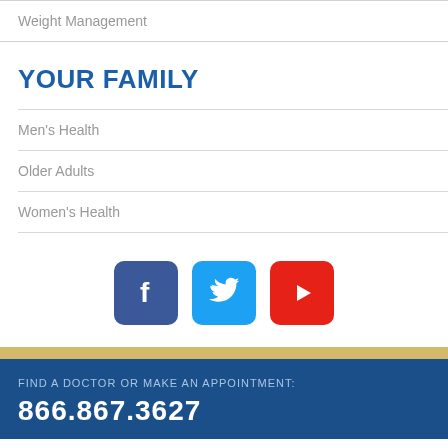Weight Management
YOUR FAMILY
Men's Health
Older Adults
Women's Health
[Figure (other): Social media icons: Facebook, Twitter, YouTube]
FIND A DOCTOR OR MAKE AN APPOINTMENT: 866.867.3627